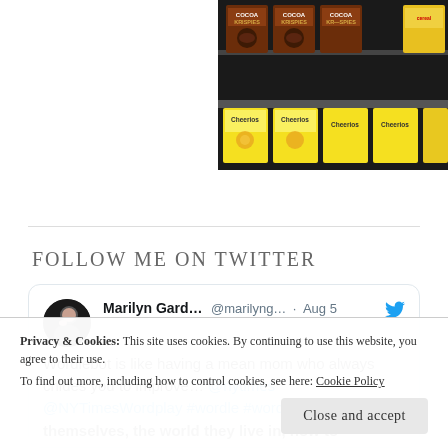[Figure (photo): Grocery store shelf with boxes of Cocoa Krispies and Cheerios cereal visible. Photo positioned in upper right of page.]
Follow me on Twitter
[Figure (screenshot): Tweet from Marilyn Gard... (@marilyng...) dated Aug 5 with Twitter bird icon. Text: 'Wordlebot is like having a mean mom who always chides you to improve… @nytimes @NYTimesWordplay #wordle #wordlebot #Wordle412'. Partially visible tweet bottom text: 'themselves, the world they live in, how to...']
Privacy & Cookies: This site uses cookies. By continuing to use this website, you agree to their use.
To find out more, including how to control cookies, see here: Cookie Policy
Close and accept